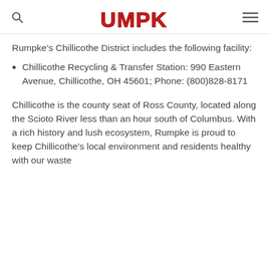Rumpke
Rumpke's Chillicothe District includes the following facility:
Chillicothe Recycling & Transfer Station: 990 Eastern Avenue, Chillicothe, OH 45601; Phone: (800)828-8171
Chillicothe is the county seat of Ross County, located along the Scioto River less than an hour south of Columbus. With a rich history and lush ecosystem, Rumpke is proud to keep Chillicothe's local environment and residents healthy with our waste